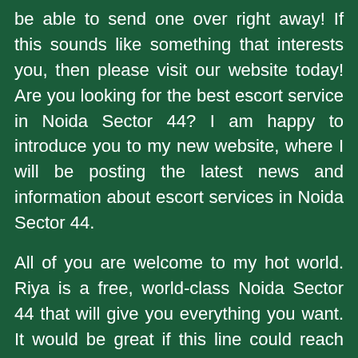be able to send one over right away! If this sounds like something that interests you, then please visit our website today! Are you looking for the best escort service in Noida Sector 44? I am happy to introduce you to my new website, where I will be posting the latest news and information about escort services in Noida Sector 44.
All of you are welcome to my hot world. Riya is a free, world-class Noida Sector 44 that will give you everything you want. It would be great if this line could reach your heart. This is what our hearts want, but we also want the best for you. With the kind of service we provide, you'll feel like you can have a great time at a unique festival. You will find happiness in simple things. I can't think of anything